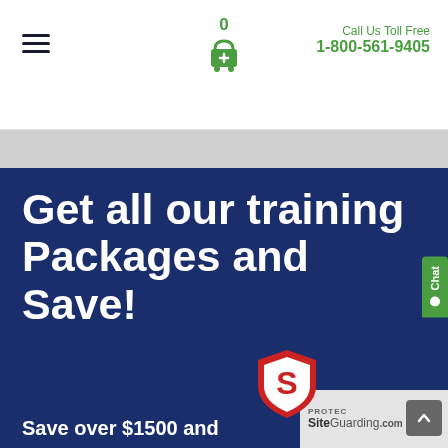Call Us Toll Free 1-800-561-9405
Get all our training Packages and Save!
Save over $1500 and